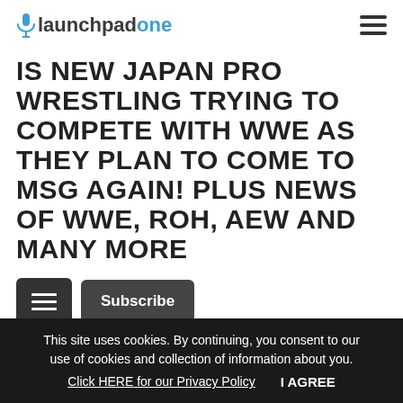launchpadone
IS NEW JAPAN PRO WRESTLING TRYING TO COMPETE WITH WWE AS THEY PLAN TO COME TO MSG AGAIN! PLUS NEWS OF WWE, ROH, AEW AND MANY MORE
Subscribe
New Japan is coming back to MSG this summer and they been trying to make a impack in the US market. For the second straight year they are running a show in WWE
This site uses cookies. By continuing, you consent to our use of cookies and collection of information about you. Click HERE for our Privacy Policy     I AGREE